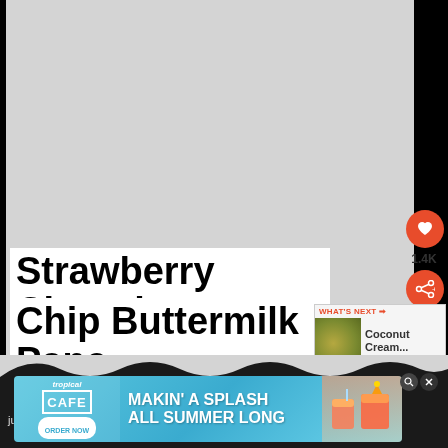[Figure (photo): Large light gray placeholder image area for Strawberry Chocolate Chip Buttermilk Pancakes recipe photo]
Strawberry Chocolate Chip Buttermilk Pancakes
[Figure (thumbnail): Small circular thumbnail of Coconut Cream next recipe preview with orange heart and share buttons (1.4K)]
[Figure (screenshot): Tropical Smoothie Cafe advertisement banner: MAKIN' A SPLASH ALL SUMMER LONG with ORDER NOW button and drinks imagery]
juicy ripe strawberries and chocolate chip...